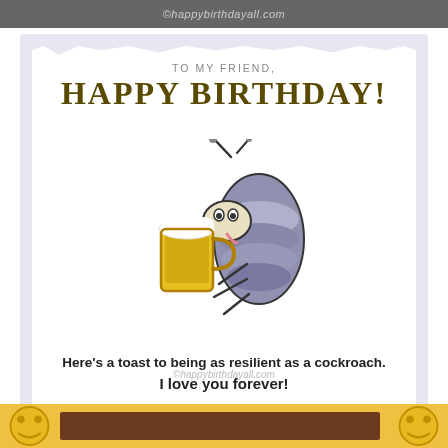©happybirthdayall.com
[Figure (illustration): Birthday card with a cartoon cockroach holding a beer mug, on a lavender/white torn-paper style background. Text reads 'TO MY FRIEND, HAPPY BIRTHDAY!' at top and 'Here's a toast to being as resilient as a cockroach. I love you forever!' at bottom. Watermark: ©happybirthdayall.com]
[Figure (illustration): Bottom strip showing yellow background with cookie/smiley face emojis on left and right, and a brown rectangular bar in the center.]